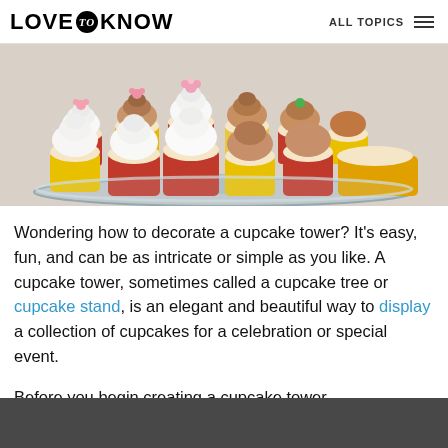LOVE to KNOW   ALL TOPICS
[Figure (photo): Cupcakes with white and chocolate frosting decorated with pink flower fondant toppers arranged on a glass tiered stand]
Wondering how to decorate a cupcake tower? It's easy, fun, and can be as intricate or simple as you like. A cupcake tower, sometimes called a cupcake tree or cupcake stand, is an elegant and beautiful way to display a collection of cupcakes for a celebration or special event.
Before you begin creating a cupcake tower...